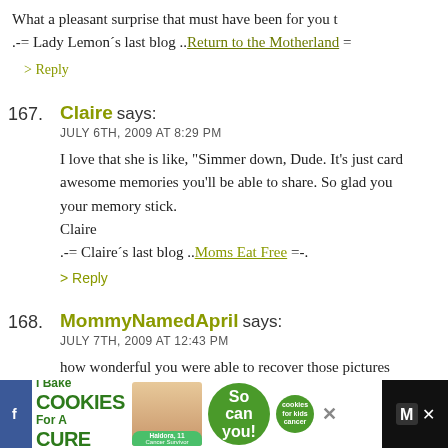What a pleasant surprise that must have been for you t
.-= Lady Lemonʼs last blog ..Return to the Motherland =
> Reply
167. Claire says:
JULY 6TH, 2009 AT 8:29 PM
I love that she is like, “Simmer down, Dude. It’s just card awesome memories you’ll be able to share. So glad you your memory stick.
Claire
.-= Claireʼs last blog ..Moms Eat Free =-.
> Reply
168. MommyNamedApril says:
JULY 7TH, 2009 AT 12:43 PM
how wonderful you were able to recover those pictures she’s just precious.
.-= MommyNamedAprilʼs last blog ..The Skip*Hop Diap
[Figure (photo): Advertisement banner at bottom of page for 'I Bake Cookies For A Cure' featuring a girl, green cookie logo, and social media icons]